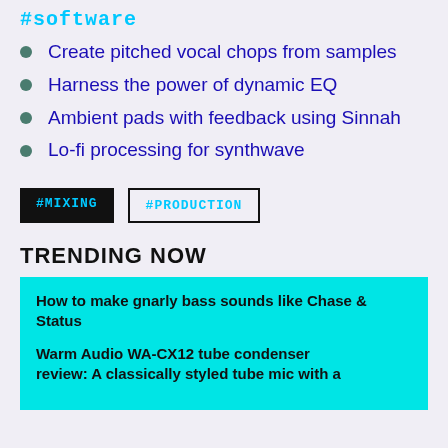#software
Create pitched vocal chops from samples
Harness the power of dynamic EQ
Ambient pads with feedback using Sinnah
Lo-fi processing for synthwave
#MIXING  #PRODUCTION
TRENDING NOW
How to make gnarly bass sounds like Chase & Status
Warm Audio WA-CX12 tube condenser review: A classically styled tube mic with a